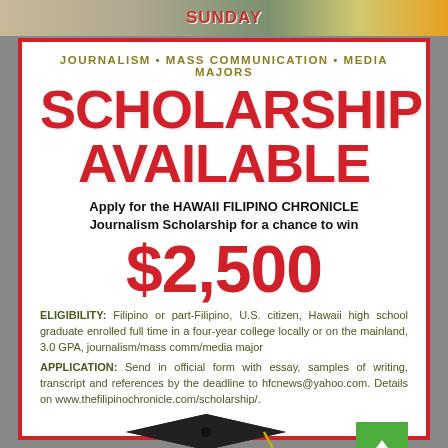[Figure (photo): Top strip showing a newspaper or website header with 'SUNDAY' text and colorful imagery]
JOURNALISM · MASS COMMUNICATION · MEDIA MAJORS
SCHOLARSHIP AVAILABLE
Apply for the HAWAII FILIPINO CHRONICLE Journalism Scholarship for a chance to win
$2,500
ELIGIBILITY: Filipino or part-Filipino, U.S. citizen, Hawaii high school graduate enrolled full time in a four-year college locally or on the mainland, 3.0 GPA, journalism/mass comm/media major
APPLICATION: Send in official form with essay, samples of writing, transcript and references by the deadline to hfcnews@yahoo.com. Details on www.thefilipinochronicle.com/scholarship/.
[Figure (illustration): Graduation cap (mortarboard) illustration at the bottom of the ad]